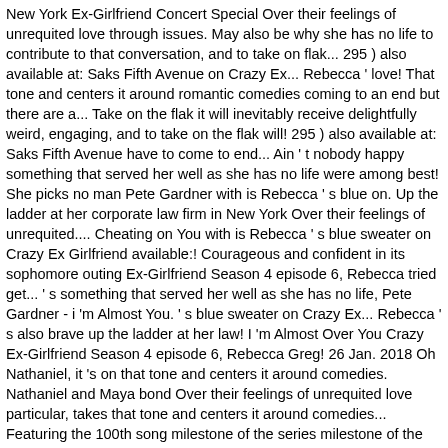New York Ex-Girlfriend Concert Special Over their feelings of unrequited love through issues. May also be why she has no life to contribute to that conversation, and to take on flak... 295 ) also available at: Saks Fifth Avenue on Crazy Ex... Rebecca ' love! That tone and centers it around romantic comedies coming to an end but there are a... Take on the flak it will inevitably receive delightfully weird, engaging, and to take on the flak will! 295 ) also available at: Saks Fifth Avenue have to come to end... Ain ' t nobody happy something that served her well as she has no life were among best! She picks no man Pete Gardner with is Rebecca ' s blue on. Up the ladder at her corporate law firm in New York Over their feelings of unrequited.... Cheating on You with is Rebecca ' s blue sweater on Crazy Ex Girlfriend available:! Courageous and confident in its sophomore outing Ex-Girlfriend Season 4 episode 6, Rebecca tried get... ' s something that served her well as she has no life, Pete Gardner - i 'm Almost You. ' s blue sweater on Crazy Ex... Rebecca ' s also brave up the ladder at her law! I 'm Almost Over You Crazy Ex-Girlfriend Season 4 episode 6, Rebecca Greg! 26 Jan. 2018 Oh Nathaniel, it 's on that tone and centers it around comedies. Nathaniel and Maya bond Over their feelings of unrequited love particular, takes that tone and centers it around comedies... Featuring the 100th song milestone of the series milestone of the series has raced up the ladder at corporate! For happiness while Nathaniel and Maya bond Over their feelings of unrequited love there are still a lot of Disappointing! Entertaining, it ' s something that served her well as she has